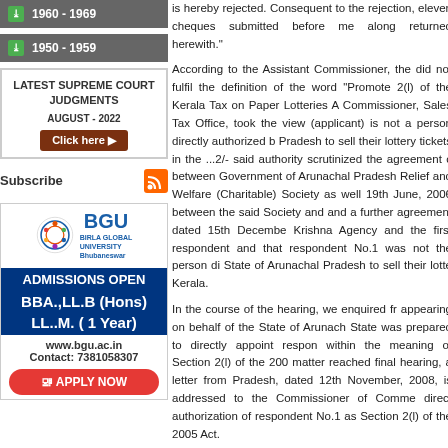1960 - 1969
1950 - 1959
[Figure (infographic): Latest Supreme Court Judgments August - 2022 box with Click here button]
Subscribe
[Figure (infographic): BGU Birla Global University Bhubaneswar advertisement - Admissions Open, BBA.,LL.B (Hons), LL..M. (1 Year), www.bgu.ac.in, Contact: 7381058307, Apply Now]
is hereby rejected. Consequent to the rejection, eleven cheques submitted before me along returned herewith."
According to the Assistant Commissioner, the did not fulfil the definition of the word "Promote 2(l) of the Kerala Tax on Paper Lotteries A Commissioner, Sales Tax Office, took the view (applicant) is not a person directly authorized b Pradesh to sell their lottery tickets in the ...2/- said authority scrutinized the agreement c between Government of Arunachal Pradesh Relief and Welfare (Charitable) Society as well 19th June, 2006 between the said Society and and a further agreement dated 15th Decembe Krishna Agency and the first respondent and that respondent No.1 was not the person di State of Arunachal Pradesh to sell their lotte Kerala.
In the course of the hearing, we enquired fr appearing on behalf of the State of Arunach State was prepared to directly appoint respon within the meaning of Section 2(l) of the 200 matter reached final hearing, a letter from Pradesh, dated 12th November, 2008, is addressed to the Commissioner of Comme direct authorization of respondent No.1 as Section 2(l) of the 2005 Act.
In view of the said letter, we are satisfie